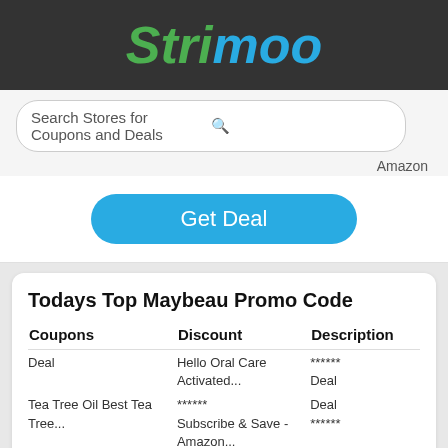Strimoo
Search Stores for Coupons and Deals
Amazon
Get Deal
Todays Top Maybeau Promo Code
| Coupons | Discount | Description |
| --- | --- | --- |
| Deal | Hello Oral Care Activated... | ****** Deal |
| Tea Tree Oil Best Tea Tree... | ****** Subscribe & Save - Amazon... | Deal ****** |
| MayBeau Teeth Whitening Kit... | ****** Scar Removal Sheeti¾Œ... | Deal Deal ****** |